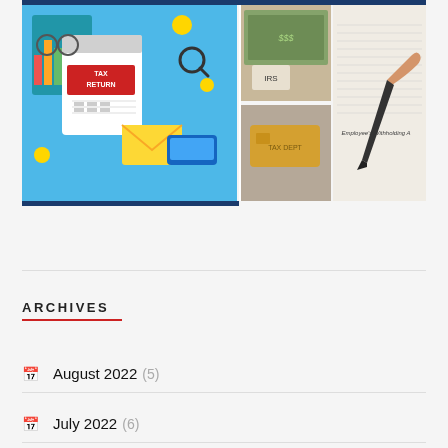[Figure (illustration): Tax-related image collage: left side shows a colorful illustration with 'TAX RETURN' text, charts, money, and a smartphone; top-right shows stacked money/IRS documents; bottom-right shows a hand holding a credit/tax card; far right shows a close-up of a hand signing an Employee's Withholding Allowance form.]
ARCHIVES
August 2022 (5)
July 2022 (6)